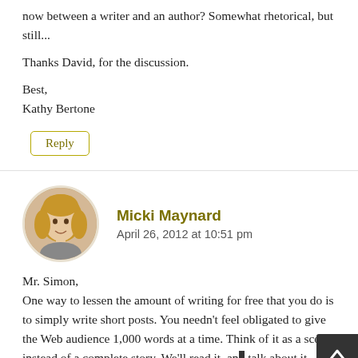now between a writer and an author? Somewhat rhetorical, but still...
Thanks David, for the discussion.
Best,
Kathy Bertone
Reply
Micki Maynard
April 26, 2012 at 10:51 pm
Mr. Simon,
One way to lessen the amount of writing for free that you do is to simply write short posts. You needn't feel obligated to give the Web audience 1,000 words at a time. Think of it as a scene instead of a complete story. We'll read it, and talk about it.